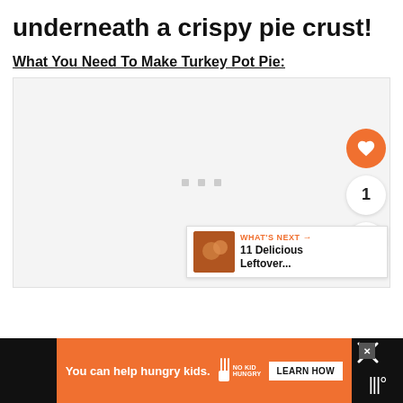underneath a crispy pie crust!
What You Need To Make Turkey Pot Pie:
[Figure (photo): Placeholder image area with loading dots, overlaid with social buttons (heart/like, count badge showing 1, share button) and a 'What's Next' panel showing '11 Delicious Leftover...']
[Figure (infographic): Advertisement bar: 'You can help hungry kids.' with No Kid Hungry logo and LEARN HOW button on orange background, flanked by black panels]